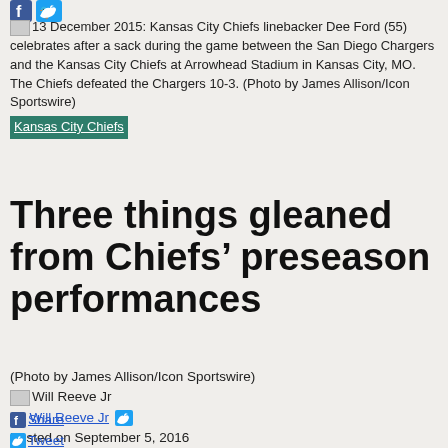[Figure (logo): Facebook and Twitter social share icons at top]
13 December 2015: Kansas City Chiefs linebacker Dee Ford (55) celebrates after a sack during the game between the San Diego Chargers and the Kansas City Chiefs at Arrowhead Stadium in Kansas City, MO. The Chiefs defeated the Chargers 10-3. (Photo by James Allison/Icon Sportswire)
Kansas City Chiefs
Three things gleaned from Chiefs’ preseason performances
(Photo by James Allison/Icon Sportswire)
Will Reeve Jr
By Will Reeve Jr
Posted on September 5, 2016
1 Share
Share
Tweet
Share
Share